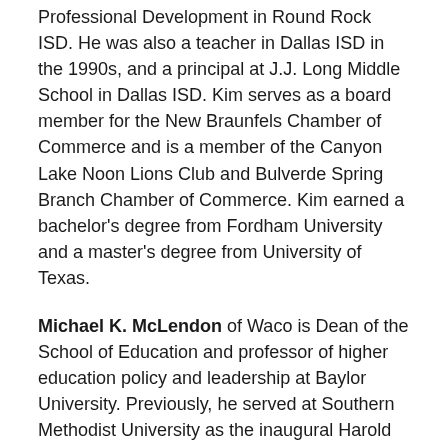Professional Development in Round Rock ISD. He was also a teacher in Dallas ISD in the 1990s, and a principal at J.J. Long Middle School in Dallas ISD. Kim serves as a board member for the New Braunfels Chamber of Commerce and is a member of the Canyon Lake Noon Lions Club and Bulverde Spring Branch Chamber of Commerce. Kim earned a bachelor's degree from Fordham University and a master's degree from University of Texas.
Michael K. McLendon of Waco is Dean of the School of Education and professor of higher education policy and leadership at Baylor University. Previously, he served at Southern Methodist University as the inaugural Harold and Annette Simmons Centennial Chair of Higher Education Policy and served as a professor and associate dean for academic affairs at the Simmons School of Education and Human Development. Prior to that, McLendon held appointment as the executive associate dean and chief of staff...